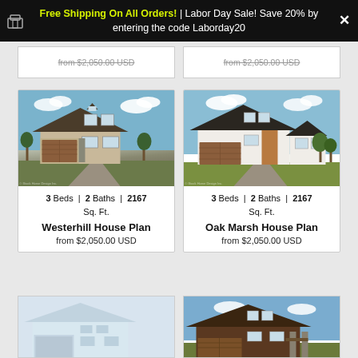Free Shipping On All Orders! | Labor Day Sale! Save 20% by entering the code Laborday20
from $2,050.00 USD | from $2,050.00 USD
[Figure (photo): Westerhill House Plan - 3 bedroom 2.5 bath craftsman style house rendering, brown/tan exterior with two-car garage]
3 Beds | 2 Baths | 2167 Sq. Ft.
Westerhill House Plan
from $2,050.00 USD
[Figure (photo): Oak Marsh House Plan - 3 bedroom 2.5 bath modern farmhouse style house rendering, white exterior with wood accents and two-car garage]
3 Beds | 2 Baths | 2167 Sq. Ft.
Oak Marsh House Plan
from $2,050.00 USD
[Figure (photo): Partial view of a white/light colored house plan rendering at bottom left]
[Figure (photo): Partial view of a dark brown house plan rendering at bottom right]